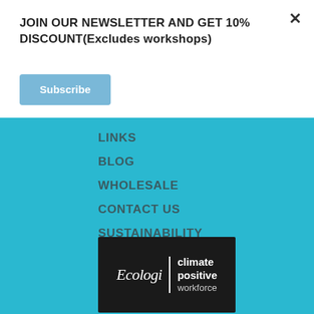JOIN OUR NEWSLETTER AND GET 10% DISCOUNT(Excludes workshops)
Subscribe
LINKS
BLOG
WHOLESALE
CONTACT US
SUSTAINABILITY
[Figure (logo): Ecologi climate positive workforce logo on dark background]